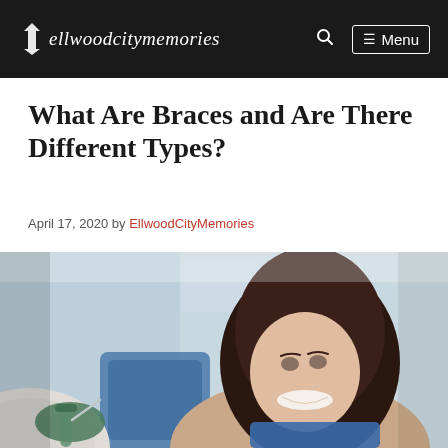ellwoodcitymemories — Menu
What Are Braces and Are There Different Types?
April 17, 2020 by EllwoodCityMemories
[Figure (photo): A young woman with long dark hair smiling at a dental clinic, seen from below, wearing a blue dental bib, with a dental professional's gloved hand visible in the foreground.]